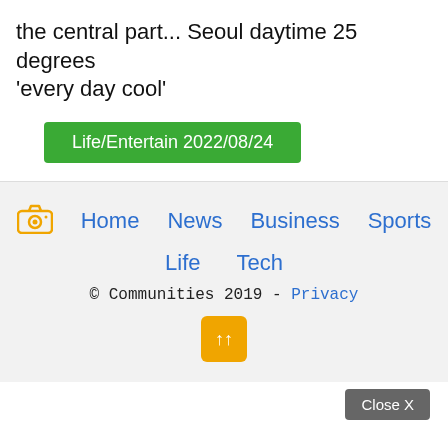the central part... Seoul daytime 25 degrees 'every day cool'
Life/Entertain 2022/08/24
Home  News  Business  Sports  Life  Tech  © Communities 2019 - Privacy
↑↑
Close X